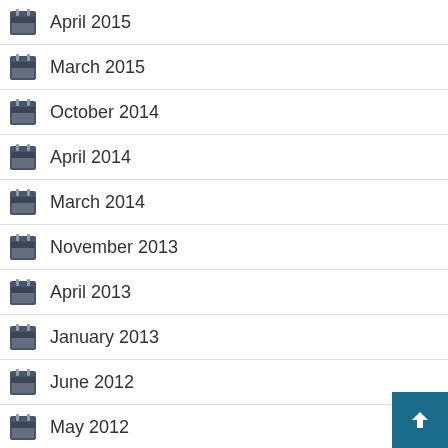April 2015
March 2015
October 2014
April 2014
March 2014
November 2013
April 2013
January 2013
June 2012
May 2012
January 2012
October 2011
June 2011